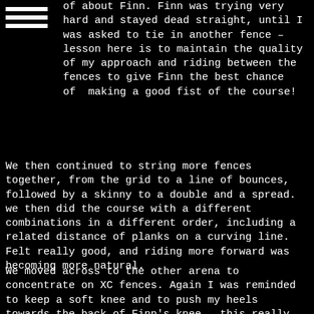of about Finn. Finn was trying very hard and stayed dead straight, until I was asked to tie in another fence – lesson here is to maintain the quality of my approach and riding between the fences to give Finn the best chance of making a good fist of the course!
We then continued to string more fences together, from the grid to a line of bounces, followed by a skinny to a double and a spread. we then did the course with a different combinations in a different order, including a related distance of planks on a curving line. Felt really good, and riding more forward was becoming more natural.
We moved across to the other arena to concentrate on XC fences. Again I was reminded to keep a soft knee and to push my heels towards the back of Finn's knee – this really helped my lower leg be more stable – so I'll keep concentrating on this..........  Finn was on form today and we did a range of fences including a romp through the water and out over the big triple brush skinny – was very pleased with her!  We finished with a course of about 12 fences including jumping up into the SJ arena